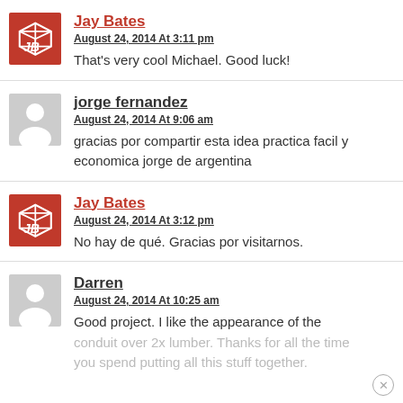Jay Bates
August 24, 2014 At 3:11 pm
That's very cool Michael. Good luck!
jorge fernandez
August 24, 2014 At 9:06 am
gracias por compartir esta idea practica facil y economica jorge de argentina
Jay Bates
August 24, 2014 At 3:12 pm
No hay de qué. Gracias por visitarnos.
Darren
August 24, 2014 At 10:25 am
Good project. I like the appearance of the conduit over 2x lumber. Thanks for all the time you spend putting all this stuff together.